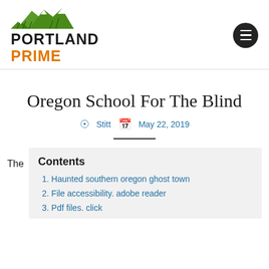[Figure (logo): Portland Prime logo with green mountain illustration above the text 'PORTLAND' in black bold and 'PRIME' in orange bold]
Oregon School For The Blind
Stitt  May 22, 2019
The
Contents
Haunted southern oregon ghost town
File accessibility. adobe reader
Pdf files. click